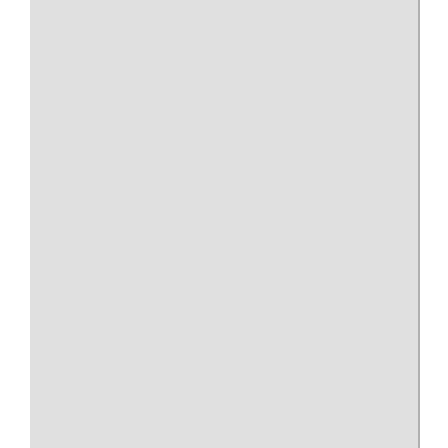The show starts at 6:15pm, so I figured two hours before the show would be sufficient.
Live Nation concert info:
http://www.livenation.com/edp/eventId/414673
Muse on Wikipedia:
(There used to be references to 9/11 Truth, but they have been removed)
http://en.wikipedia.org/wiki/Muse_(band)
http://en.wikipedia.org/wiki/Matthew_Bellamy
From Patriots Question 9/11 ( http://patriotsquestion911.com/media.html ) :
http://www.femalefirst.co.uk - "Muse frontman Mat... sensationally claimed 9/11 was an "inside job", ins... the Twin Towers and the Pentagon was orchestrat... perfect excuse to invade Iraq.
Bellamy is convinced the US government knows m... surrounding the attack on their country in Septemb...